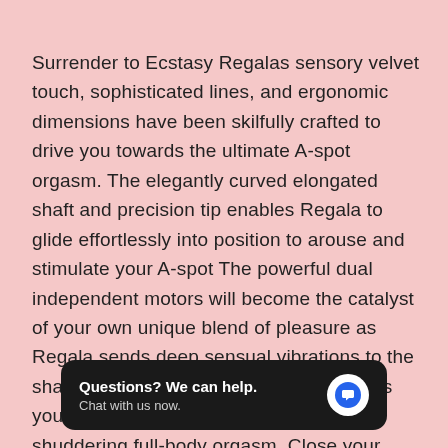Surrender to Ecstasy Regalas sensory velvet touch, sophisticated lines, and ergonomic dimensions have been skilfully crafted to drive you towards the ultimate A-spot orgasm. The elegantly curved elongated shaft and precision tip enables Regala to glide effortlessly into position to arouse and stimulate your A-spot The powerful dual independent motors will become the catalyst of your own unique blend of pleasure as Regala sends deep sensual vibrations to the shaft, tip, and clitoral stimulation points as you fall endlessly and deeply into a shuddering full-body orgasm. Close your eyes and take a deep breath and hellip Velvet sensory soft body-safe silicone Metallic ABS Powerful dual independent Clitoral stimulation and shaft motors 10 functions x 2 for individual blended pleasure Magnetic USB charge 3 hours charge time for up to 8 hours of pleasure.
[Figure (screenshot): A chat support overlay widget with dark background showing 'Questions? We can help. Chat with us now.' and a blue chat bubble icon.]